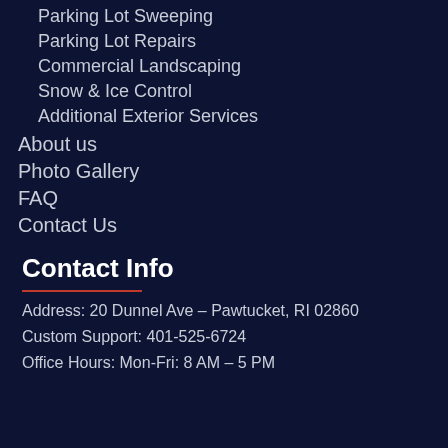Parking Lot Sweeping
Parking Lot Repairs
Commercial Landscaping
Snow & Ice Control
Additional Exterior Services
About us
Photo Gallery
FAQ
Contact Us
Contact Info
Address: 20 Dunnel Ave – Pawtucket, RI 02860
Custom Support: 401-525-6724
Office Hours: Mon-Fri: 8 AM – 5 PM